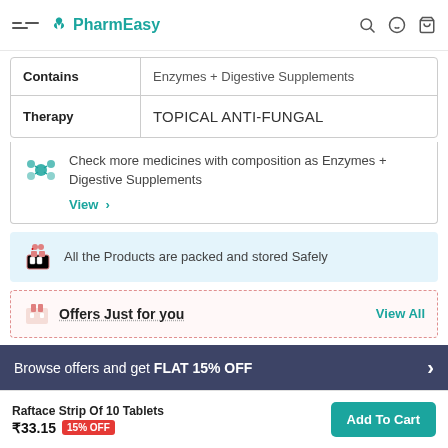PharmEasy
| Label | Value |
| --- | --- |
| Contains | Enzymes + Digestive Supplements |
| Therapy | TOPICAL ANTI-FUNGAL |
Check more medicines with composition as Enzymes + Digestive Supplements
View >
All the Products are packed and stored Safely
Offers Just for you
View All
Browse offers and get FLAT 15% OFF
Raftace Strip Of 10 Tablets ₹33.15 15% OFF
Add To Cart